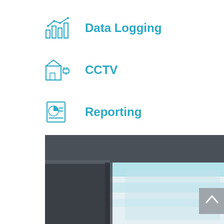Data Logging
CCTV
Reporting
Much More
[Figure (screenshot): Blurred screenshot of a software interface showing a dark-framed monitor or device with blue/white UI elements, partially visible.]